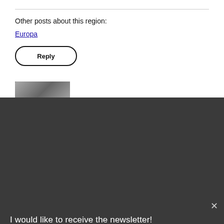Other posts about this region:
Europa
Reply
[Figure (photo): Partial view of a person's avatar photo, cropped at bottom of white section]
I would like to receive the newsletter!
DE  EN  my email  I subscribe
to receive information about new articles and services of Verfassungsblog.de. I know that I may withdraw my consent at any time. More information in the privacy policy.